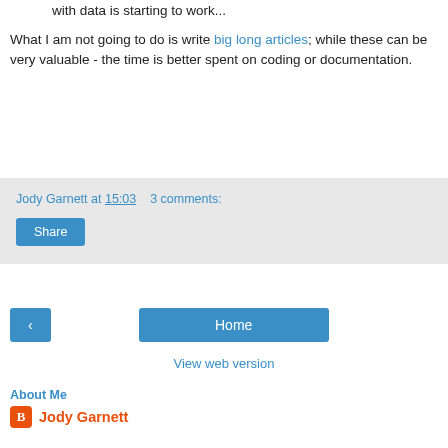with data is starting to work...
What I am not going to do is write big long articles; while these can be very valuable - the time is better spent on coding or documentation.
Jody Garnett at 15:03    3 comments:
Share
< Home
View web version
About Me
Jody Garnett
Active Java developer with a hands-on approach available for consulting and training. Works with OSGeo and LocationTech.
View my complete profile